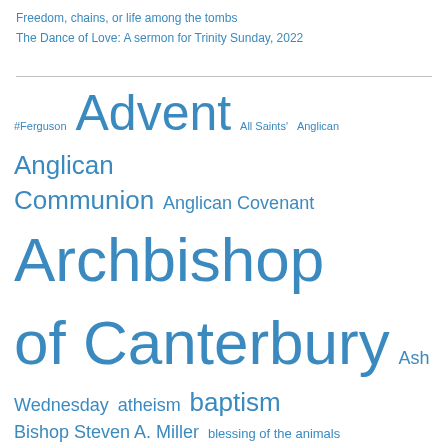Freedom, chains, or life among the tombs
The Dance of Love: A sermon for Trinity Sunday, 2022
#Ferguson Advent All Saints' Anglican Anglican Communion Anglican Covenant Archbishop of Canterbury Ash Wednesday atheism baptism Bishop Steven A. Miller blessing of the animals Christmas collects Crusty Old Dean Dietrich Bonhoeffer Diocese of Milwaukee discipleship downtown Madison Easter Epiphany Episcopal Episcopal Church Episcopal Church budget General Convention General Convention 2012